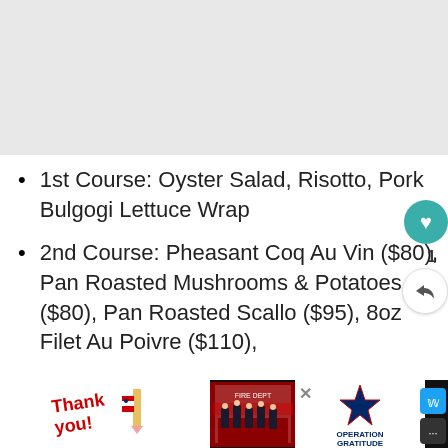[Figure (photo): Gray placeholder image area at top of page, approximately full width]
1st Course: Oyster Salad, Risotto, Pork Bulgogi Lettuce Wrap
2nd Course: Pheasant Coq Au Vin ($80), Pan Roasted Mushrooms & Potatoes ($80), Pan Roasted Scallo ($95), 8oz Filet Au Poivre ($110)
[Figure (photo): Advertisement banner at bottom: 'Thank you!' text with American flag imagery and firefighters photo, Operation Gratitude logo, and social sharing buttons]